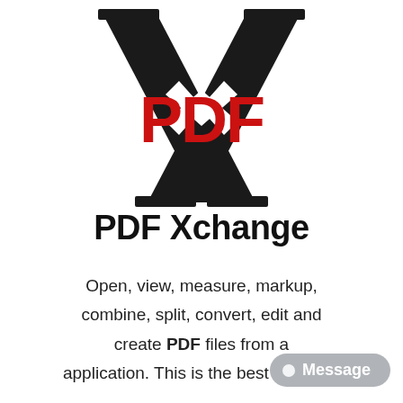[Figure (logo): PDF Xchange logo: large black stylized letter X with red bold letters PDF overlaid in the center]
PDF Xchange
Open, view, measure, markup, combine, split, convert, edit and create PDF files from a application. This is the best PDF tool
[Figure (other): Grey message badge button in bottom right corner with a white dot icon and text 'Message']